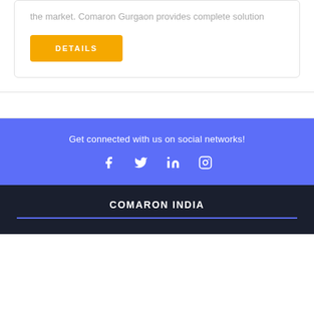the market. Comaron Gurgaon provides complete solution
DETAILS
Get connected with us on social networks!
[Figure (infographic): Social media icons: Facebook, Twitter, LinkedIn, Instagram]
COMARON INDIA